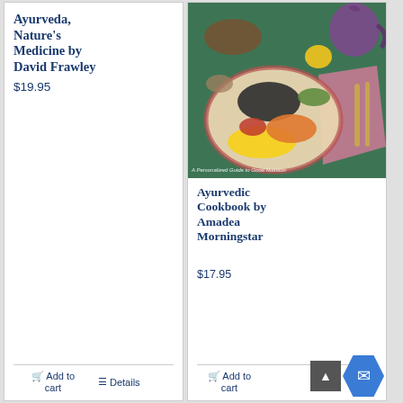Ayurveda, Nature's Medicine by David Frawley
$19.95
Add to cart
Details
[Figure (photo): Colorful plate of Indian/Ayurvedic food including yellow rice, black lentils, orange vegetables on a decorative plate, with a pink napkin and utensils on a green table. Also shows a purple onion teapot and other food items. Caption reads: A Personalized Guide to Good Nutrition]
Ayurvedic Cookbook by Amadea Morningstar
$17.95
Add to cart